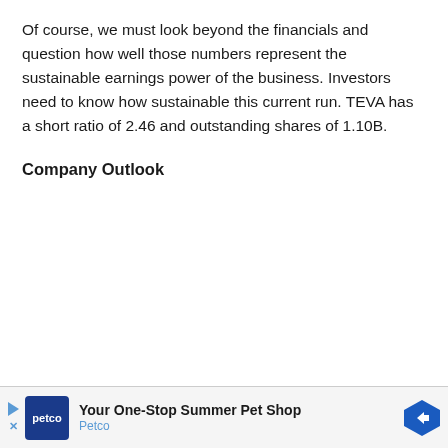Of course, we must look beyond the financials and question how well those numbers represent the sustainable earnings power of the business. Investors need to know how sustainable this current run. TEVA has a short ratio of 2.46 and outstanding shares of 1.10B.
Company Outlook
[Figure (other): Petco advertisement banner: 'Your One-Stop Summer Pet Shop' with Petco logo on dark blue square background and a blue directional sign arrow icon]